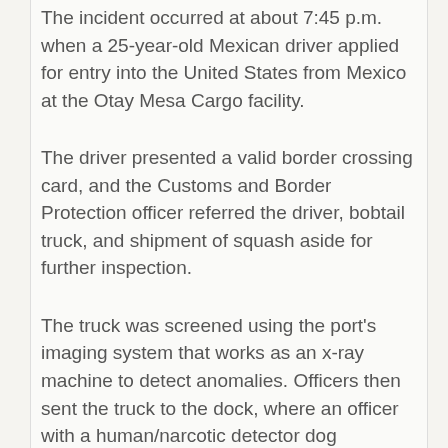The incident occurred at about 7:45 p.m. when a 25-year-old Mexican driver applied for entry into the United States from Mexico at the Otay Mesa Cargo facility.
The driver presented a valid border crossing card, and the Customs and Border Protection officer referred the driver, bobtail truck, and shipment of squash aside for further inspection.
The truck was screened using the port's imaging system that works as an x-ray machine to detect anomalies. Officers then sent the truck to the dock, where an officer with a human/narcotic detector dog screened the shipment, and the canine alerted to the pallets of squash.